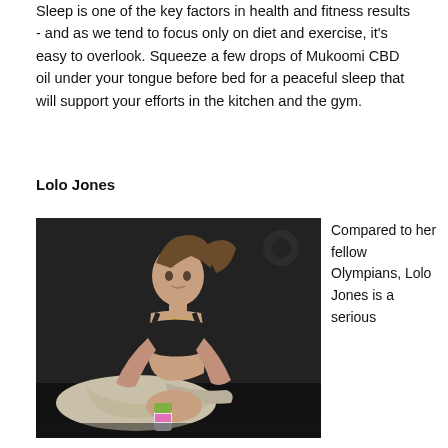Sleep is one of the key factors in health and fitness results - and as we tend to focus only on diet and exercise, it's easy to overlook. Squeeze a few drops of Mukoomi CBD oil under your tongue before bed for a peaceful sleep that will support your efforts in the kitchen and the gym.
Lolo Jones
[Figure (photo): Athlete Lolo Jones sitting cross-legged on a dark gym floor, wearing a black sports bra and grey patterned leggings, leaning forward holding a colorful bottle, with a ponytail hairstyle, in a dark gym setting.]
Compared to her fellow Olympians, Lolo Jones is a serious